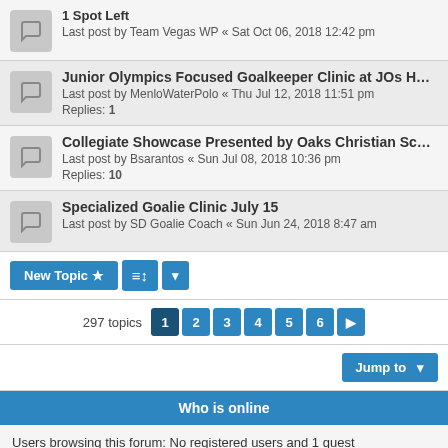1 Spot Left — Last post by Team Vegas WP « Sat Oct 06, 2018 12:42 pm
Junior Olympics Focused Goalkeeper Clinic at JOs Host Pool — Last post by MenloWaterPolo « Thu Jul 12, 2018 11:51 pm — Replies: 1
Collegiate Showcase Presented by Oaks Christian School — Last post by Bsarantos « Sun Jul 08, 2018 10:36 pm — Replies: 10
Specialized Goalie Clinic July 15 — Last post by SD Goalie Coach « Sun Jun 24, 2018 8:47 am
New Topic | Sort | 297 topics | 1 2 3 4 5 6 >
Jump to
Who is online
Users browsing this forum: No registered users and 1 guest
Forum permissions
You cannot post new topics in this forum
You cannot reply to topics in this forum
You cannot edit your posts in this forum